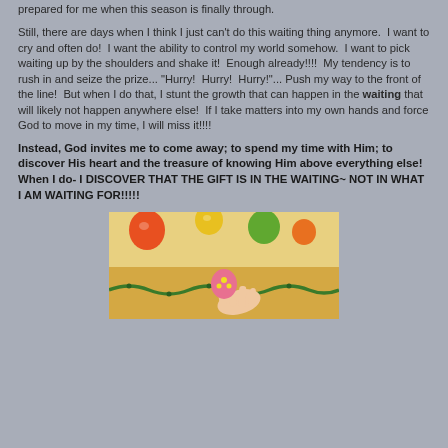prepared for me when this season is finally through.
Still, there are days when I think I just can't do this waiting thing anymore.  I want to cry and often do!  I want the ability to control my world somehow.  I want to pick waiting up by the shoulders and shake it!  Enough already!!!!  My tendency is to rush in and seize the prize... "Hurry!  Hurry!  Hurry!"... Push my way to the front of the line!  But when I do that, I stunt the growth that can happen in the waiting that will likely not happen anywhere else!  If I take matters into my own hands and force God to move in my time, I will miss it!!!!
Instead, God invites me to come away; to spend my time with Him; to discover His heart and the treasure of knowing Him above everything else!  When I do- I DISCOVER THAT THE GIFT IS IN THE WAITING~ NOT IN WHAT I AM WAITING FOR!!!!!
[Figure (photo): A colorful scene with what appears to be Easter eggs or decorations in orange, yellow, green, and other colors. A hand is holding a small pink flower-decorated item. Background is yellowish/cream colored with green garland decoration.]